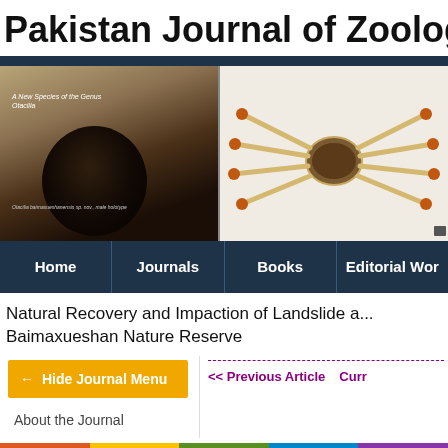Pakistan Journal of Zoology
[Figure (photo): Banner showing spider/arachnid specimens including a large dark oval (abdomen) on beige background on the left, and a close-up ventral view of a crab spider with orange-tipped legs on white background on the right. Text overlay reads 'A New Species of the Genus Otacilia']
Home | Journals | Books | Editorial Work
Natural Recovery and Impaction of Landslide a... Baimaxueshan Nature Reserve
← Hide Journal Menu
About the Journal
<< Previous Article
Curr...